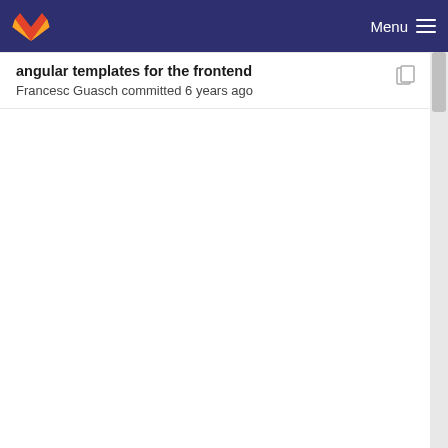Menu
angular templates for the frontend
Francesc Guasch committed 6 years ago
list iso images
Francesc Guasch committed 6 years ago